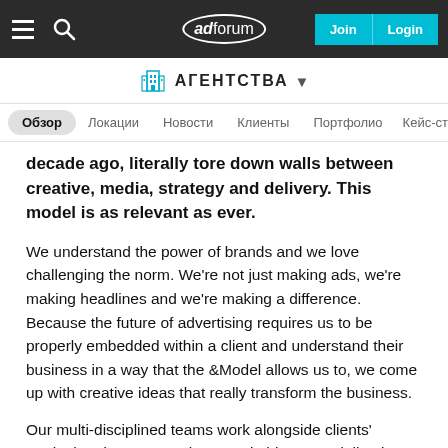adforum — Join | Login
АГЕНТСТВА
Обзор | Локации | Новости | Клиенты | Портфолио | Кейс-ста…
decade ago, literally tore down walls between creative, media, strategy and delivery. This model is as relevant as ever.
We understand the power of brands and we love challenging the norm. We're not just making ads, we're making headlines and we're making a difference. Because the future of advertising requires us to be properly embedded within a client and understand their business in a way that the &Model allows us to, we come up with creative ideas that really transform the business.
Our multi-disciplined teams work alongside clients' marketing departments in new, nimble ways, delivering